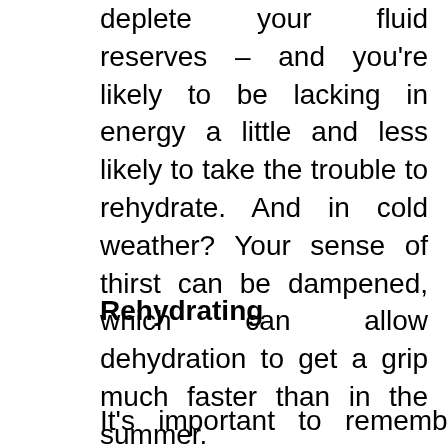deplete your fluid reserves – and you're likely to be lacking in energy a little and less likely to take the trouble to rehydrate. And in cold weather? Your sense of thirst can be dampened, which can allow dehydration to get a grip much faster than in the summer.
Rehydrating
It's important to remember that